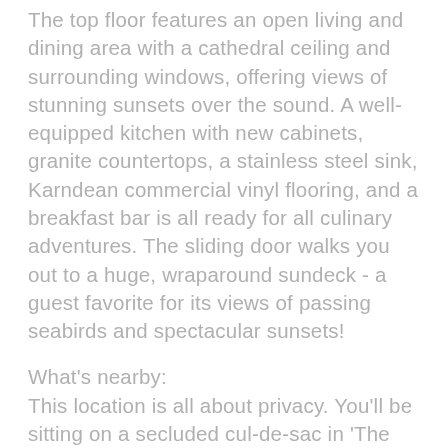The top floor features an open living and dining area with a cathedral ceiling and surrounding windows, offering views of stunning sunsets over the sound. A well-equipped kitchen with new cabinets, granite countertops, a stainless steel sink, Karndean commercial vinyl flooring, and a breakfast bar is all ready for all culinary adventures. The sliding door walks you out to a huge, wraparound sundeck - a guest favorite for its views of passing seabirds and spectacular sunsets!
What's nearby:
This location is all about privacy. You'll be sitting on a secluded cul-de-sac in 'The Colony' on Avon's pristine north end, just a short walk from the Atlantic beachfront. Find a handful of incredible local restaurants across North Carolina Highway 12 if you'd like to delight yourself with some local flavor. Charming Avon is a dreamy destination for fishermen, surfers, kiteboarders, and windsurfers